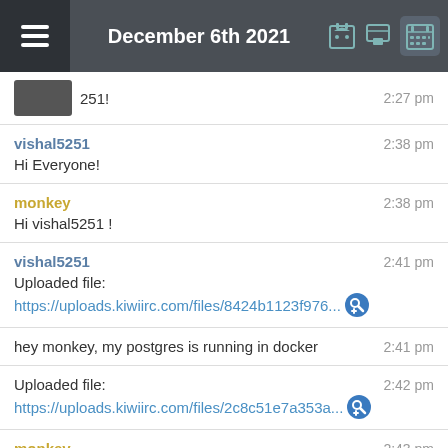December 6th 2021
251!  2:27 pm
vishal5251  2:38 pm
Hi Everyone!
monkey  2:38 pm
Hi vishal5251 !
vishal5251  2:41 pm
Uploaded file:
https://uploads.kiwiirc.com/files/8424b1123f976...
hey monkey, my postgres is running in docker  2:41 pm
Uploaded file:
https://uploads.kiwiirc.com/files/2c8c51e7a353a...  2:42 pm
monkey  2:43 pm